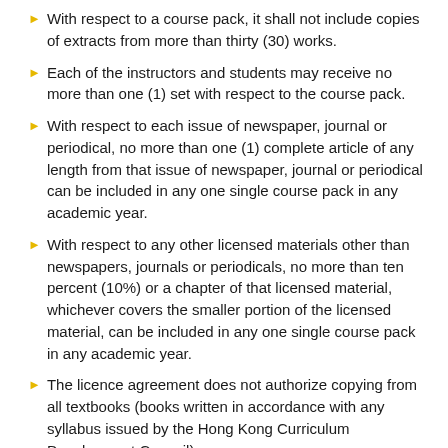With respect to a course pack, it shall not include copies of extracts from more than thirty (30) works.
Each of the instructors and students may receive no more than one (1) set with respect to the course pack.
With respect to each issue of newspaper, journal or periodical, no more than one (1) complete article of any length from that issue of newspaper, journal or periodical can be included in any one single course pack in any academic year.
With respect to any other licensed materials other than newspapers, journals or periodicals, no more than ten percent (10%) or a chapter of that licensed material, whichever covers the smaller portion of the licensed material, can be included in any one single course pack in any academic year.
The licence agreement does not authorize copying from all textbooks (books written in accordance with any syllabus issued by the Hong Kong Curriculum Development Council);